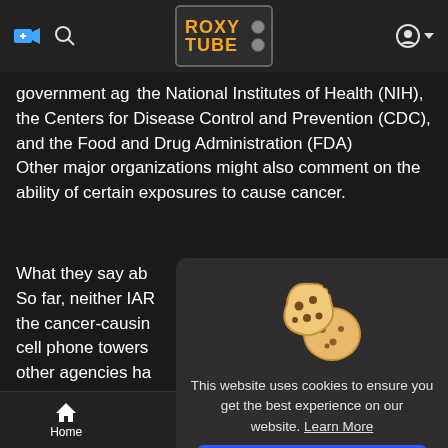RoxyTube - navigation bar with logo
government agencies, including the National Institutes of Health (NIH), the Centers for Disease Control and Prevention (CDC), and the Food and Drug Administration (FDA)
Other major organizations might also comment on the ability of certain exposures to cause cancer.
What they say ab...
So far, neither IAR...
the cancer-causin...
cell phone towers...
other agencies ha...
safety.
The US Federal Co...
(FCC) has said th...
[Figure (illustration): Cookie consent popup with cartoon cookie illustration. Text: 'This website uses cookies to ensure you get the best experience on our website. Learn More' and a blue 'Got It!' button.]
Home   Trending   Top Videos